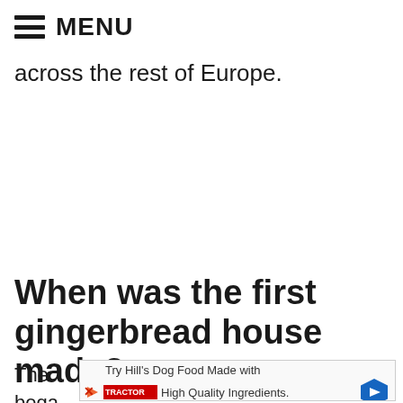≡ MENU
across the rest of Europe.
When was the first gingerbread house made?
The ... ses bega...
[Figure (other): Advertisement banner: Try Hill's Dog Food Made with High Quality Ingredients. Tractor Supply logo. Navigation arrow. Close X button.]